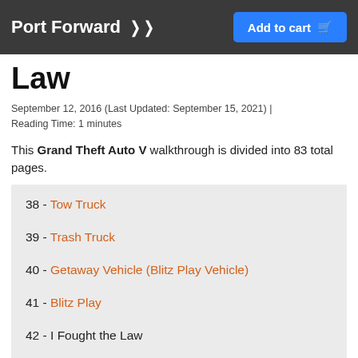Port Forward
Law
September 12, 2016 (Last Updated: September 15, 2021) | Reading Time: 1 minutes
This Grand Theft Auto V walkthrough is divided into 83 total pages.
38 - Tow Truck
39 - Trash Truck
40 - Getaway Vehicle (Blitz Play Vehicle)
41 - Blitz Play
42 - I Fought the Law
43 - Eye In The Sky